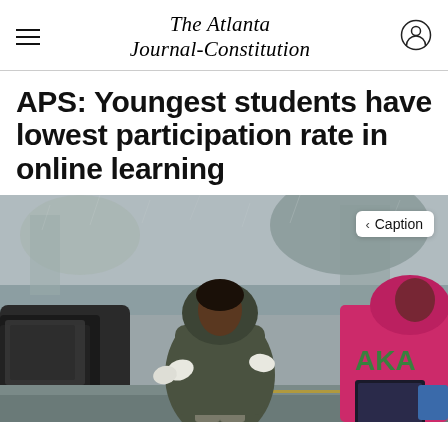The Atlanta Journal-Constitution
APS: Youngest students have lowest participation rate in online learning
[Figure (photo): Two people distributing tablets/laptops through a car window in a drive-through event. One person wearing a dark olive jacket and white gloves, another in a bright pink AKA hoodie. Rainy outdoor setting.]
Caption